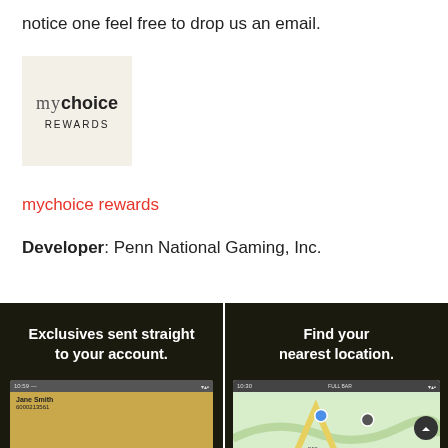notice one feel free to drop us an email.
[Figure (logo): mychoice REWARDS app logo on beige/cream background]
mychoice rewards
Developer: Penn National Gaming, Inc.
[Figure (screenshot): Two app screenshots on dark background. Left: 'Exclusives sent straight to your account.' with a phone mockup showing a card. Right: 'Find your nearest location.' with a phone mockup showing a map.]